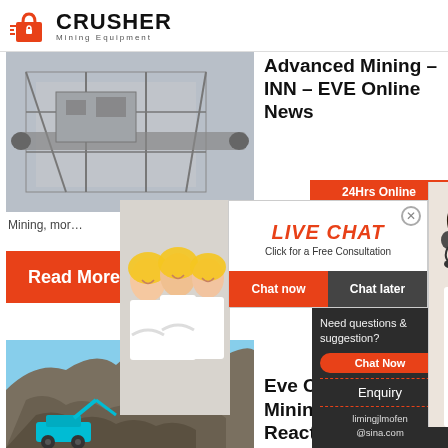[Figure (logo): CRUSHER Mining Equipment logo with red shopping bag icon and bold text]
[Figure (photo): Industrial mining equipment / industrial structure with steel framework]
Advanced Mining – INN – EVE Online News
[Figure (photo): Live chat overlay with workers in hard hats and female consultant with headset, Chat now and Chat later buttons, 24Hrs Online badge]
Mining, mor...
Read More
[Figure (photo): Rocky quarry landscape with teal excavator machinery]
Eve Online Moon Mining & Reactions
Need questions & suggestion?
Chat Now
Enquiry
limingjlmofen@sina.com